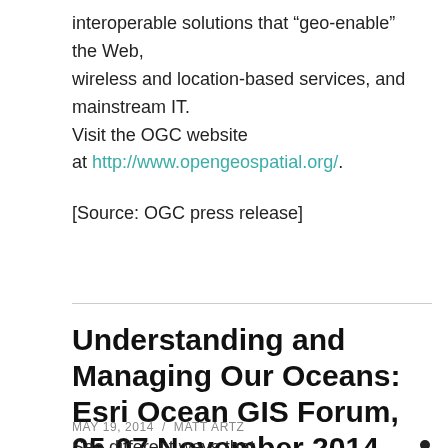interoperable solutions that “geo-enable” the Web, wireless and location-based services, and mainstream IT. Visit the OGC website at http://www.opengeospatial.org/.
[Source: OGC press release]
Understanding and Managing Our Oceans: Esri Ocean GIS Forum, 05-07 November 2014
MAY 19, 2014 / MATT ARTZ
See different ways that